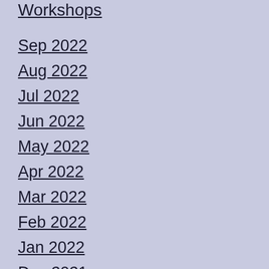Workshops
Sep 2022
Aug 2022
Jul 2022
Jun 2022
May 2022
Apr 2022
Mar 2022
Feb 2022
Jan 2022
Dec 2021
Nov 2021
Oct 2021